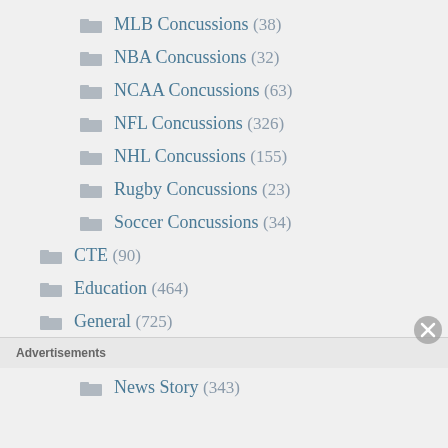MLB Concussions (38)
NBA Concussions (32)
NCAA Concussions (63)
NFL Concussions (326)
NHL Concussions (155)
Rugby Concussions (23)
Soccer Concussions (34)
CTE (90)
Education (464)
General (725)
Editorial (49)
News Story (343)
Advertisements